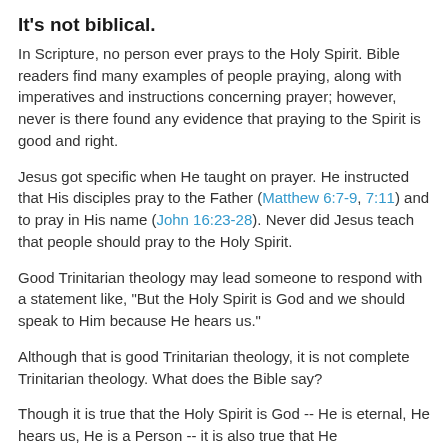It's not biblical.
In Scripture, no person ever prays to the Holy Spirit. Bible readers find many examples of people praying, along with imperatives and instructions concerning prayer; however, never is there found any evidence that praying to the Spirit is good and right.
Jesus got specific when He taught on prayer. He instructed that His disciples pray to the Father (Matthew 6:7-9, 7:11) and to pray in His name (John 16:23-28). Never did Jesus teach that people should pray to the Holy Spirit.
Good Trinitarian theology may lead someone to respond with a statement like, "But the Holy Spirit is God and we should speak to Him because He hears us."
Although that is good Trinitarian theology, it is not complete Trinitarian theology. What does the Bible say?
Though it is true that the Holy Spirit is God -- He is eternal, He hears us, He is a Person -- it is also true that He ...